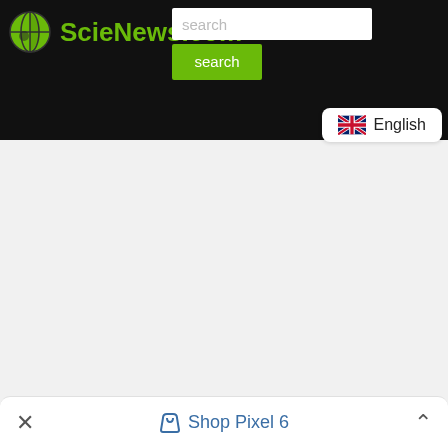ScieNews.com — search bar with search button
[Figure (screenshot): ScieNews.com website header with black background, green globe logo, green site name, search input box, green search button, and English language badge]
Shop Pixel 6